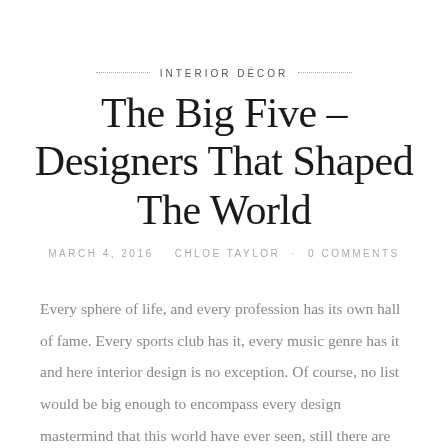INTERIOR DÉCOR
The Big Five – Designers That Shaped The World
MARCH 4, 2016   CHLOE TAYLOR · 0 COMMENTS
Every sphere of life, and every profession has its own hall of fame. Every sports club has it, every music genre has it and here interior design is no exception. Of course, no list would be big enough to encompass every design mastermind that this world have ever seen, still there are some who with their ideas managed to change the world as